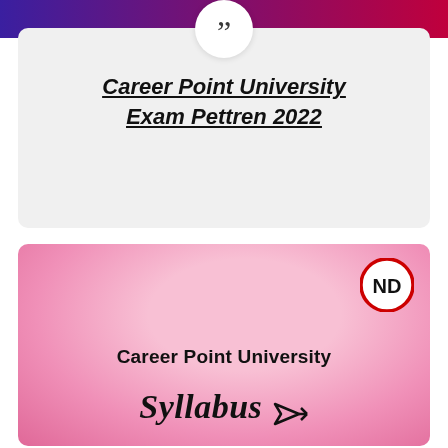[Figure (illustration): Top gradient banner in blue to red/pink gradient]
Career Point University Exam Pettren 2022
[Figure (infographic): Pink watercolor background card with ND logo circle in top right, text reads 'Career Point University Syllabus' with arrow cursor icon]